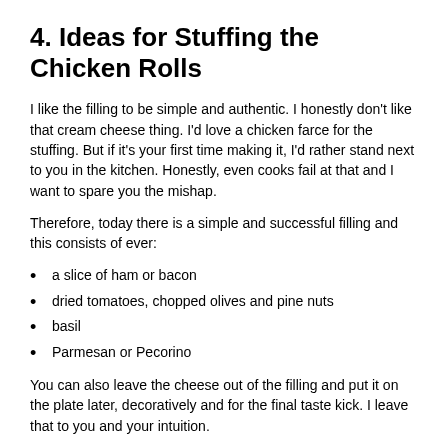4. Ideas for Stuffing the Chicken Rolls
I like the filling to be simple and authentic. I honestly don't like that cream cheese thing. I'd love a chicken farce for the stuffing. But if it's your first time making it, I'd rather stand next to you in the kitchen. Honestly, even cooks fail at that and I want to spare you the mishap.
Therefore, today there is a simple and successful filling and this consists of ever:
a slice of ham or bacon
dried tomatoes, chopped olives and pine nuts
basil
Parmesan or Pecorino
You can also leave the cheese out of the filling and put it on the plate later, decoratively and for the final taste kick. I leave that to you and your intuition.